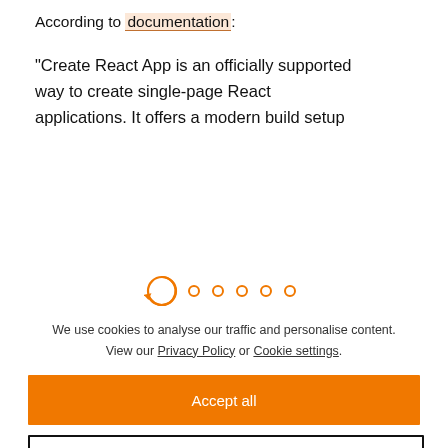According to documentation:
“Create React App is an officially supported way to create single-page React applications. It offers a modern build setup
[Figure (other): A loading spinner icon (orange circle with arrow) followed by four small dots, indicating page loading state]
We use cookies to analyse our traffic and personalise content. View our Privacy Policy or Cookie settings.
Accept all
Dismiss
Preferences